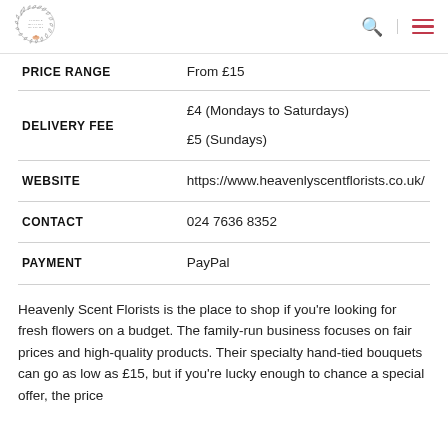Flower Delivery Reviews logo, search icon, menu icon
|  |  |
| --- | --- |
| PRICE RANGE | From £15 |
| DELIVERY FEE | £4 (Mondays to Saturdays)
£5 (Sundays) |
| WEBSITE | https://www.heavenlyscentflorists.co.uk/ |
| CONTACT | 024 7636 8352 |
| PAYMENT | PayPal |
Heavenly Scent Florists is the place to shop if you're looking for fresh flowers on a budget. The family-run business focuses on fair prices and high-quality products. Their specialty hand-tied bouquets can go as low as £15, but if you're lucky enough to chance a special offer, the price